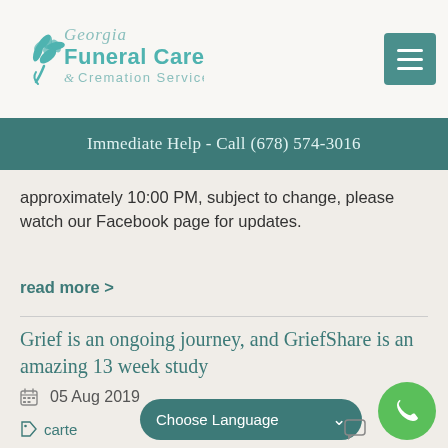[Figure (logo): Georgia Funeral Care & Cremation Services logo with teal flower/leaf icon and script/serif text]
Immediate Help - Call (678) 574-3016
approximately 10:00 PM, subject to change, please watch our Facebook page for updates.
read more >
Grief is an ongoing journey, and GriefShare is an amazing 13 week study
05 Aug 2019
carte...
[Figure (screenshot): Choose Language dropdown overlay in teal rounded rectangle with chevron]